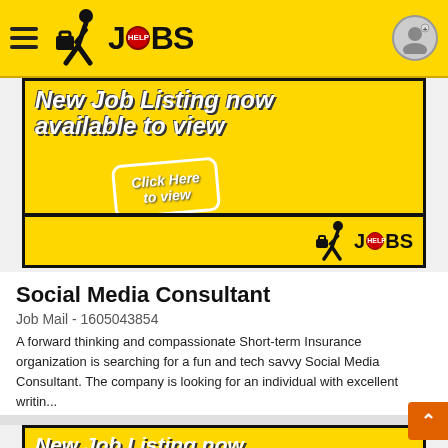HelpJobs mobile app header with hamburger menu, HelpJobs logo, and user icon
[Figure (screenshot): Yellow job listing banner advertisement with text 'New Job Listing now available to view' and 'Click Here to view' button, with HelpJobs logo at bottom right]
Social Media Consultant
Job Mail - 1605043854
A forward thinking and compassionate Short-term Insurance organization is searching for a fun and tech savvy Social Media Consultant. The company is looking for an individual with excellent writin...
[Figure (screenshot): Bottom yellow banner showing 'New Job Listing now' text, partially visible]